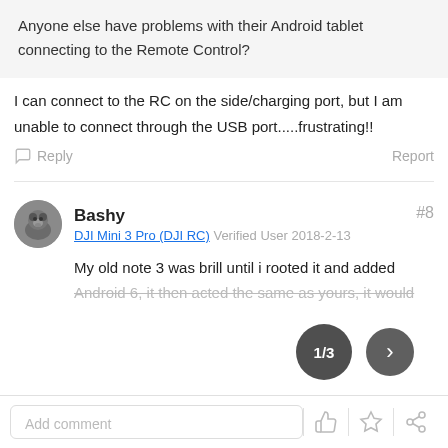Anyone else have problems with their Android tablet connecting to the Remote Control?
I can connect to the RC on the side/charging port, but I am unable to connect through the USB port.....frustrating!!
Reply  Report
Bashy  #8
DJI Mini 3 Pro (DJI RC) Verified User 2018-2-13
My old note 3 was brill until i rooted it and added Android 6, it then acted the same as yours, it would